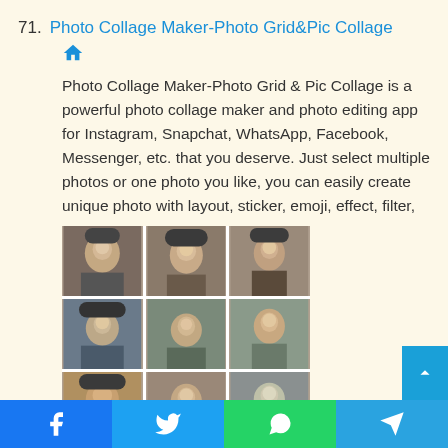71. Photo Collage Maker-Photo Grid&Pic Collage
Photo Collage Maker-Photo Grid & Pic Collage is a powerful photo collage maker and photo editing app for Instagram, Snapchat, WhatsApp, Facebook, Messenger, etc. that you deserve. Just select multiple photos or one photo you like, you can easily create unique photo with layout, sticker, emoji, effect, filter,
[Figure (photo): A 3x3 photo collage grid showing multiple portraits of a young woman with curly hair in various poses and outfits, outdoors settings.]
Facebook | Twitter | WhatsApp | Telegram